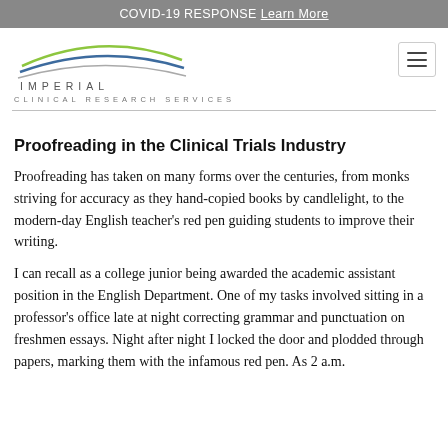COVID-19 RESPONSE Learn More
[Figure (logo): Imperial Clinical Research Services logo with arc swooshes in green and blue above the text IMPERIAL CLINICAL RESEARCH SERVICES]
Proofreading in the Clinical Trials Industry
Proofreading has taken on many forms over the centuries, from monks striving for accuracy as they hand-copied books by candlelight, to the modern-day English teacher's red pen guiding students to improve their writing.
I can recall as a college junior being awarded the academic assistant position in the English Department. One of my tasks involved sitting in a professor's office late at night correcting grammar and punctuation on freshmen essays. Night after night I locked the door and plodded through papers, marking them with the infamous red pen. As 2 a.m. approached...